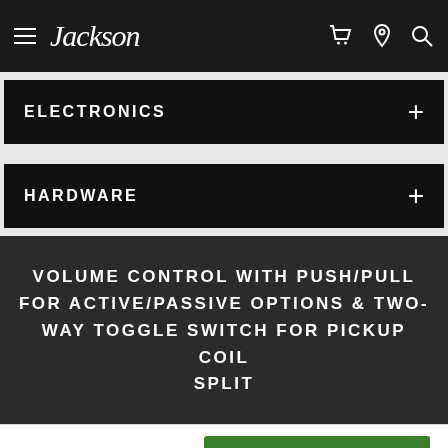Jackson — navigation bar with hamburger menu, cart, location, and search icons
ELECTRONICS
HARDWARE
VOLUME CONTROL WITH PUSH/PULL FOR ACTIVE/PASSIVE OPTIONS & TWO-WAY TOGGLE SWITCH FOR PICKUP COIL SPLIT
$699.99
ADD TO CART